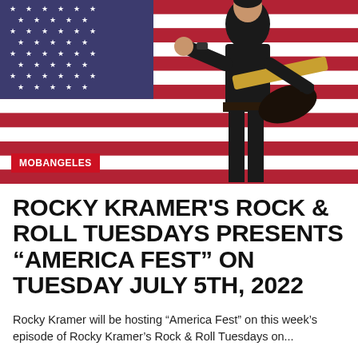[Figure (photo): A guitarist in black clothing pointing at the camera, standing in front of a large American flag background. A red label reading 'MOBANGELES' appears in the lower left of the image.]
ROCKY KRAMER'S ROCK & ROLL TUESDAYS PRESENTS “AMERICA FEST” ON TUESDAY JULY 5TH, 2022
Rocky Kramer will be hosting “America Fest” on this week’s episode of Rocky Kramer’s Rock & Roll Tuesdays on...